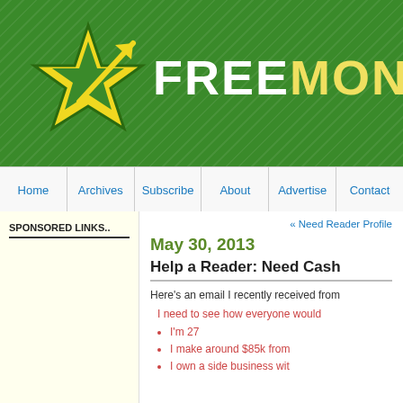[Figure (logo): FreeMoney Finance blog header banner with green diagonal-striped background, yellow star logo with arrow, and white/yellow FREEMONE text]
Home | Archives | Subscribe | About | Advertise | Contact
SPONSORED LINKS..
« Need Reader Profile
May 30, 2013
Help a Reader: Need Cash
Here's an email I recently received from
I need to see how everyone would
I'm 27
I make around $85k from
I own a side business wit